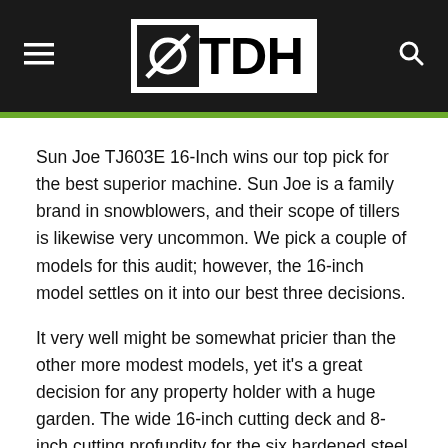TDH
Sun Joe TJ603E 16-Inch wins our top pick for the best superior machine. Sun Joe is a family brand in snowblowers, and their scope of tillers is likewise very uncommon. We pick a couple of models for this audit; however, the 16-inch model settles on it into our best three decisions.
It very well might be somewhat pricier than the other more modest models, yet it's a great decision for any property holder with a huge garden. The wide 16-inch cutting deck and 8-inch cutting profundity for the six hardened steel prongs accomplishes short work of circulating air through your grass.
The solitary weakness with this model is that it's anything but a corded activity. Along these lines, you'll need to continue to